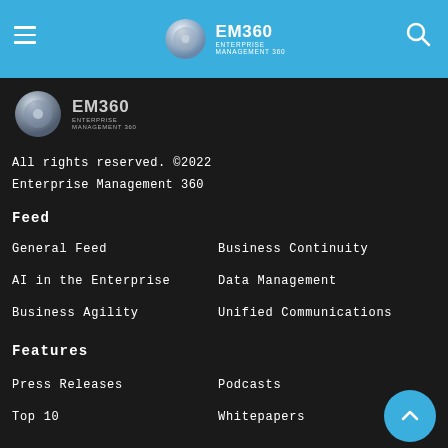EM360 ENTERPRISE MANAGEMENT 360 navigation header with hamburger menu and search icon
[Figure (logo): EM360 Enterprise Management 360 logo in footer area on dark background]
All rights reserved. ©2022
Enterprise Management 360
Feed
General Feed
Business Continuity
AI in the Enterprise
Data Management
Business Agility
Unified Communications
Features
Press Releases
Podcasts
Top 10
Whitepapers